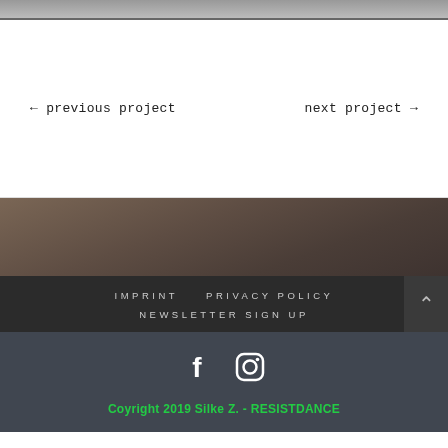[Figure (photo): Top strip showing partial image, dark gray/silver gradient band at the top of the page]
← previous project
next project →
[Figure (photo): Dark brownish-gray textured background photo, earth tones]
IMPRINT   PRIVACY POLICY   NEWSLETTER SIGN UP
Coyright 2019 Silke Z. - RESISTDANCE